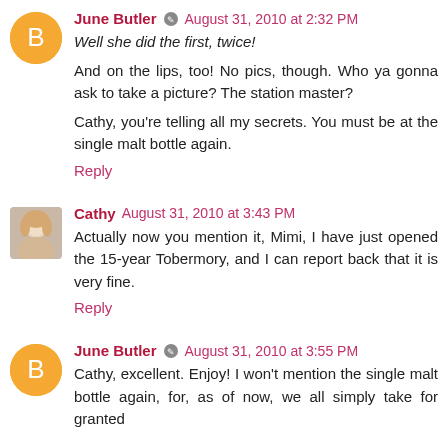June Butler • August 31, 2010 at 2:32 PM
Well she did the first, twice!
And on the lips, too! No pics, though. Who ya gonna ask to take a picture? The station master?
Cathy, you're telling all my secrets. You must be at the single malt bottle again.
Reply
Cathy August 31, 2010 at 3:43 PM
Actually now you mention it, Mimi, I have just opened the 15-year Tobermory, and I can report back that it is very fine.
Reply
June Butler • August 31, 2010 at 3:55 PM
Cathy, excellent. Enjoy! I won't mention the single malt bottle again, for, as of now, we all simply take for granted